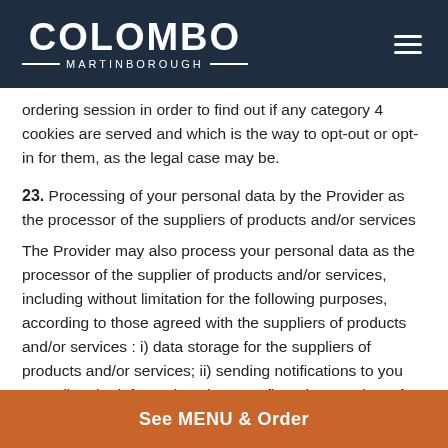COLOMBO MARTINBOROUGH
ordering session in order to find out if any category 4 cookies are served and which is the way to opt-out or opt-in for them, as the legal case may be.
23. Processing of your personal data by the Provider as the processor of the suppliers of products and/or services
The Provider may also process your personal data as the processor of the supplier of products and/or services, including without limitation for the following purposes, according to those agreed with the suppliers of products and/or services : i) data storage for the suppliers of products and/or services; ii) sending notifications to you regarding the information about confirmation or reject of the order or about the missed orders and about the
See MENU & Order